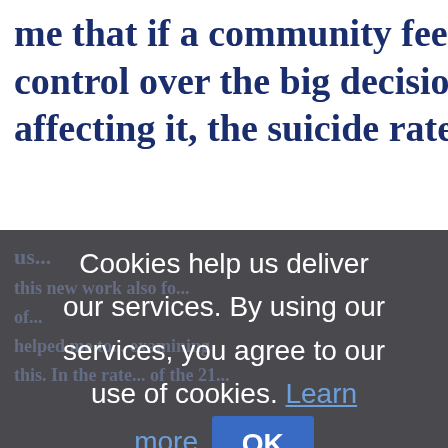me that if a community feels it control over the big decisions affecting it, the suicide rate wi
[Figure (screenshot): Cookie consent overlay dialog on a Wikipedia-like page. Dark semi-transparent overlay covering the lower portion of the page. Text reads: 'Cookies help us deliver our services. By using our services, you agree to our use of cookies. Learn more [OK button]'. The background shows partially visible Wikipedia article text in dark blue bold font.]